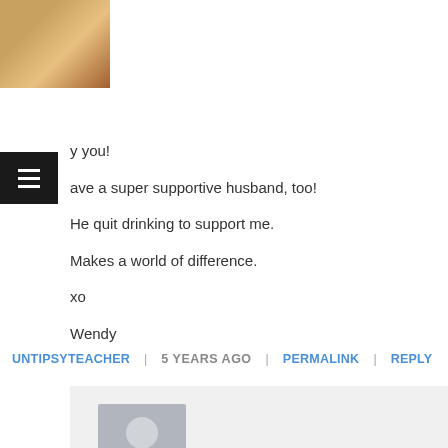[Figure (photo): Profile avatar photo of a person wearing a hat, smiling outdoors]
...y you!
...ave a super supportive husband, too!
He quit drinking to support me.
Makes a world of difference.
xo
Wendy
UNTIPSYTEACHER | 5 YEARS AGO | PERMALINK | REPLY
[Figure (illustration): Generic grey silhouette avatar placeholder image for anonymous author]
AUTHOR
It absolutely makes a world of difference! My wife has been unbelievably supportive through out. All the ups and downs she stood by me when no one...